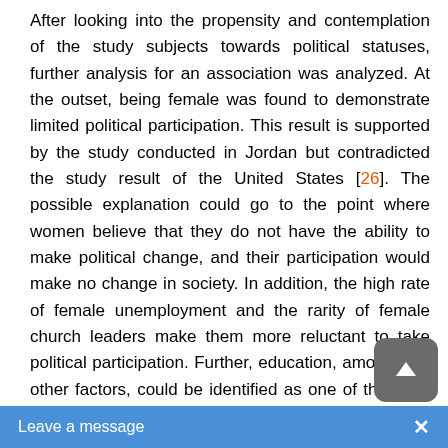After looking into the propensity and contemplation of the study subjects towards political statuses, further analysis for an association was analyzed. At the outset, being female was found to demonstrate limited political participation. This result is supported by the study conducted in Jordan but contradicted the study result of the United States [26]. The possible explanation could go to the point where women believe that they do not have the ability to make political change, and their participation would make no change in society. In addition, the high rate of female unemployment and the rarity of female church leaders make them more reluctant to take political participation. Further, education, amongst all other factors, could be identified as one of the most important possible causes of the problem that prevents women from entering into politics. They are forced to stay home giving more chances for the male-dominated nature of politics in most countries like Ethiopia and put barriers against women trying to enter politics.